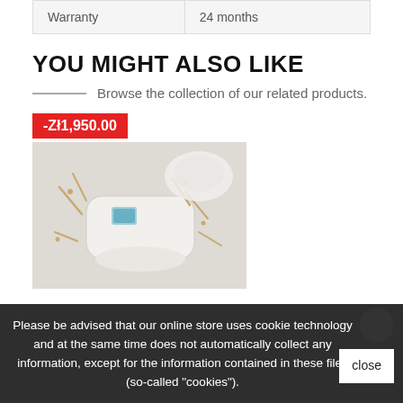| Warranty | 24 months |
YOU MIGHT ALSO LIKE
Browse the collection of our related products.
[Figure (photo): Product photo of a white handheld beauty device (laser/IPL hair removal device) with small accessories scattered around it, on a white background. A red discount badge shows -Zł1,950.00.]
Please be advised that our online store uses cookie technology and at the same time does not automatically collect any information, except for the information contained in these files (so-called "cookies").